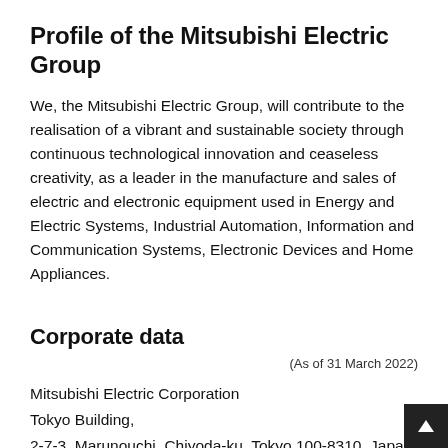Profile of the Mitsubishi Electric Group
We, the Mitsubishi Electric Group, will contribute to the realisation of a vibrant and sustainable society through continuous technological innovation and ceaseless creativity, as a leader in the manufacture and sales of electric and electronic equipment used in Energy and Electric Systems, Industrial Automation, Information and Communication Systems, Electronic Devices and Home Appliances.
Corporate data
(As of 31 March 2022)
Mitsubishi Electric Corporation
Tokyo Building,
2-7-3, Marunouchi, Chiyoda-ku, Tokyo 100-8310, Japan